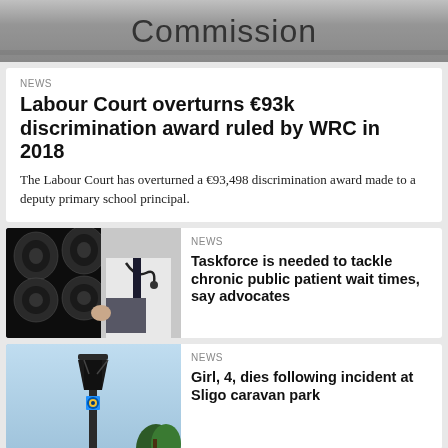[Figure (photo): Grey metallic surface with the word 'Commission' text visible]
NEWS
Labour Court overturns €93k discrimination award ruled by WRC in 2018
The Labour Court has overturned a €93,498 discrimination award made to a deputy primary school principal.
[Figure (photo): Doctor in white coat holding brain MRI scans with stethoscope around neck]
NEWS
Taskforce is needed to tackle chronic public patient wait times, say advocates
[Figure (photo): Garda lamp post with blue light against a light blue sky with trees]
NEWS
Girl, 4, dies following incident at Sligo caravan park